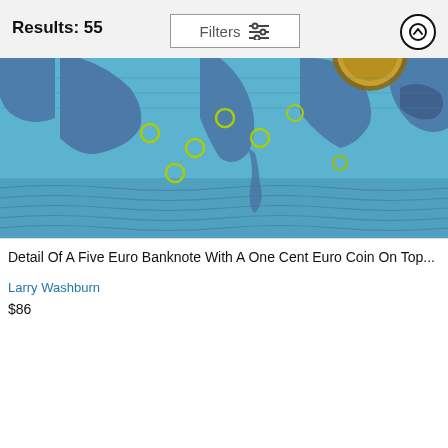Results: 55
[Figure (screenshot): UI filter button with sliders icon labeled 'Filters']
[Figure (photo): Detail of a five euro banknote showing the Mediterranean map with green circle details and a one cent euro coin partially visible at top]
Detail Of A Five Euro Banknote With A One Cent Euro Coin On Top...
Larry Washburn
$86